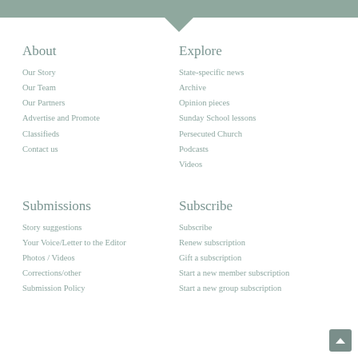About
Our Story
Our Team
Our Partners
Advertise and Promote
Classifieds
Contact us
Explore
State-specific news
Archive
Opinion pieces
Sunday School lessons
Persecuted Church
Podcasts
Videos
Submissions
Story suggestions
Your Voice/Letter to the Editor
Photos / Videos
Corrections/other
Submission Policy
Subscribe
Subscribe
Renew subscription
Gift a subscription
Start a new member subscription
Start a new group subscription